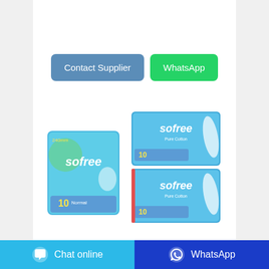[Figure (other): Two Sofree brand sanitary pad product packages on a white background. Left: a blue-green square box with 'sofree' branding and '10 Normal' label. Right: two stacked blue rectangular packages with 'sofree Pure Cotton' branding and '10' count labels.]
Dad Thinks Tampons Sexualize
Contact Supplier
WhatsApp
Chat online
WhatsApp